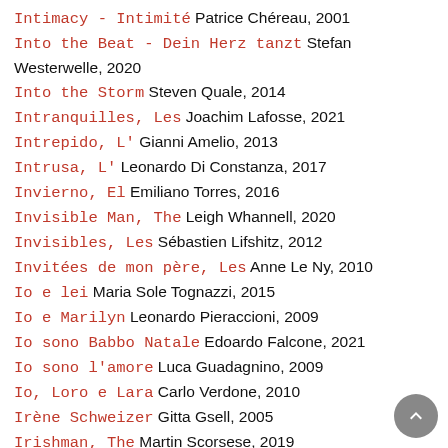Intimacy - Intimité Patrice Chéreau, 2001
Into the Beat - Dein Herz tanzt Stefan Westerwelle, 2020
Into the Storm Steven Quale, 2014
Intranquilles, Les Joachim Lafosse, 2021
Intrepido, L' Gianni Amelio, 2013
Intrusa, L' Leonardo Di Constanza, 2017
Invierno, El Emiliano Torres, 2016
Invisible Man, The Leigh Whannell, 2020
Invisibles, Les Sébastien Lifshitz, 2012
Invitées de mon père, Les Anne Le Ny, 2010
Io e lei Maria Sole Tognazzi, 2015
Io e Marilyn Leonardo Pieraccioni, 2009
Io sono Babbo Natale Edoardo Falcone, 2021
Io sono l'amore Luca Guadagnino, 2009
Io, Loro e Lara Carlo Verdone, 2010
Irène Schweizer Gitta Gsell, 2005
Irishman, The Martin Scorsese, 2019
Iron Sky Timo Vuorensola, 2012
Iron Sky: The Coming Race Timo Vuorensola, 2018